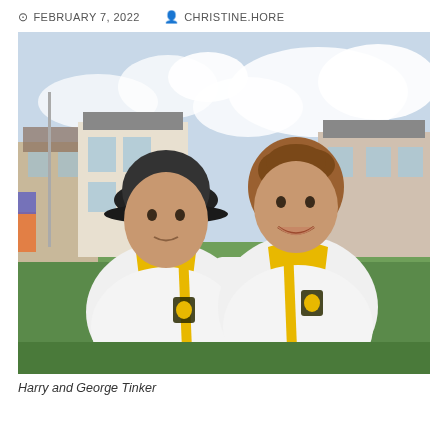FEBRUARY 7, 2022   CHRISTINE.HORE
[Figure (photo): Two young men standing side by side outdoors on a lawn bowling green, both wearing white and yellow polo shirts with a shield/crest logo. The man on the left wears a dark cap. Buildings and a cloudy sky are visible in the background.]
Harry and George Tinker